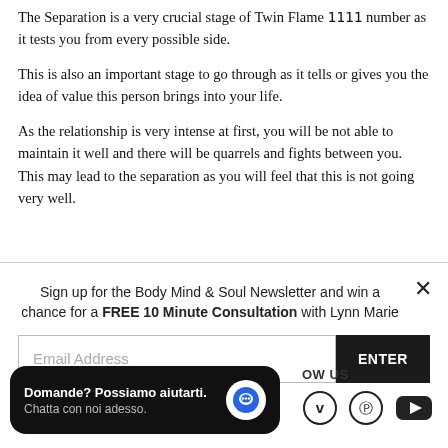The Separation is a very crucial stage of Twin Flame 1111 number as it tests you from every possible side.
This is also an important stage to go through as it tells or gives you the idea of value this person brings into your life.
As the relationship is very intense at first, you will be not able to maintain it well and there will be quarrels and fights between you. This may lead to the separation as you will feel that this is not going very well.
Sign up for the Body Mind & Soul Newsletter and win a chance for a FREE 10 Minute Consultation with Lynn Marie
[Figure (screenshot): Email address input field and ENTER button for newsletter signup]
[Figure (screenshot): Chat widget: Domande? Possiamo aiutarti. Chatta con noi adesso.]
OW US
[Figure (screenshot): Social media icons: Vimeo, Pinterest, YouTube]